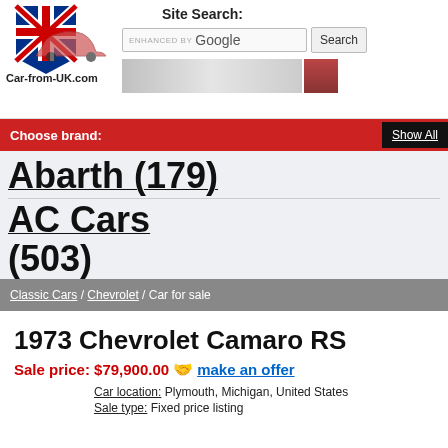[Figure (logo): Car-from-UK.com logo with Union Jack flag and car graphic]
Car-from-UK.com
Site Search:
ENHANCED BY Google
Search
Choose brand:
Show All
Abarth (179)
AC Cars (503)
Classic Cars / Chevrolet / Car for sale
1973 Chevrolet Camaro RS
Sale price: $79,900.00  make an offer
Car location: Plymouth, Michigan, United States
Sale type: Fixed price listing